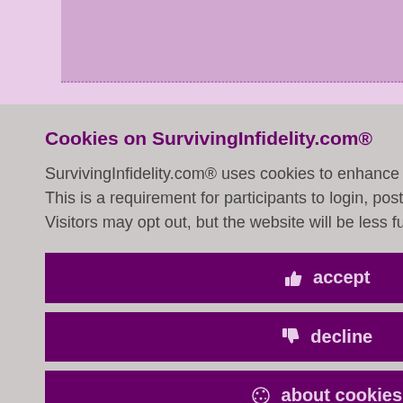Cookies on SurvivingInfidelity.com®
SurvivingInfidelity.com® uses cookies to enhance your visit to our website. This is a requirement for participants to login, post and use other features. Visitors may opt out, but the website will be less functional for you.
accept
decline
about cookies
epting it from
id 5258924
1, 2011
Policy